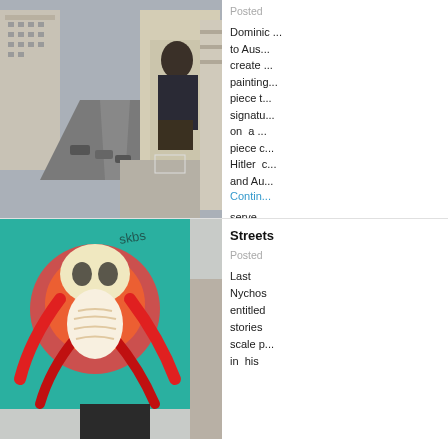[Figure (photo): Aerial view of a city street with apartment buildings and a large mural of a crouching figure painted on the side of a building]
Posted

Dominic ... to Aus... create ... painting... piece t... signatu... on a... piece c... Hitler c... and Au... Continue...
serve ... building...
[Figure (photo): A colorful street mural on a teal building depicting an anatomical fantasy creature, viewed with a person's head silhouetted in the foreground]
Streets
Posted

Last Nychos entitled stories scale p in his